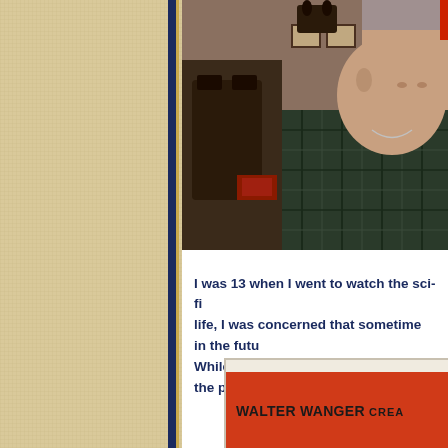[Figure (photo): Photograph of an older man seated indoors, wearing a dark plaid shirt, with wooden furniture and framed pictures visible in the background.]
I was 13 when I went to watch the sci-fi life, I was concerned that sometime in the futu While the film didn't concern me in the present
[Figure (photo): Partial view of a book or film poster cover with red/orange background showing text: WALTER WANGER CREA...]